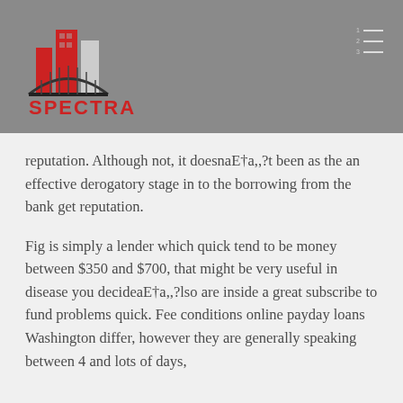[Figure (logo): Spectra logo with red buildings and bridge graphic, text SPECTRA in red below]
reputation. Although not, it doesnaEta,,?t been as the an effective derogatory stage in to the borrowing from the bank get reputation.
Fig is simply a lender which quick tend to be money between $350 and $700, that might be very useful in disease you decideaEta,,?lso are inside a great subscribe to fund problems quick. Fee conditions online payday loans Washington differ, however they are generally speaking between 4 and lots of days,